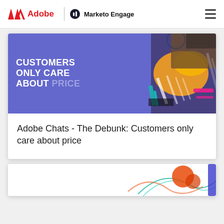Adobe | Marketo Engage
[Figure (screenshot): Banner image with blue/purple background and abstract colorful graphic on right side. White bold text reads: CUSTOMERS ONLY CARE ABOUT PRICE (with PRICE faded/ghosted)]
Adobe Chats - The Debunk: Customers only care about price
[Figure (illustration): Partially visible decorative illustration with swirling lines in teal/orange/red on white background]